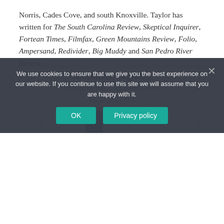Norris, Cades Cove, and south Knoxville. Taylor has written for The South Carolina Review, Skeptical Inquirer, Fortean Times, Filmfax, Green Mountains Review, Folio, Ampersand, Redivider, Big Muddy and San Pedro River Review.
READ MORE
Page 22 of 553
« ‹ 10 21 22 23 24 30 40 › »
Newsletter Sign-Up
Sign up for the … 16 e-newsletter.
We use cookies to ensure that we give you the best experience on our website. If you continue to use this site we will assume that you are happy with it.
OK   Privacy policy